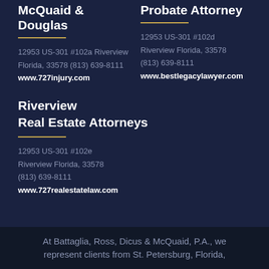McQuaid & Douglas
12953 US-301 #102a Riverview Florida, 33578 (813) 639-8111
www.727injury.com
Probate Attorney
12953 US-301 #102d Riverview Florida, 33578 (813) 639-8111
www.bestlegacylawyer.com
Riverview Real Estate Attorneys
12953 US-301 #102e Riverview Florida, 33578 (813) 639-8111
www.727realestatelaw.com
At Battaglia, Ross, Dicus & McQuaid, P.A., we represent clients from St. Petersburg, Florida,